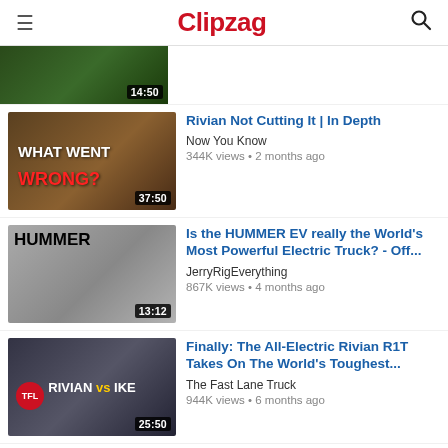Clipzag
[Figure (screenshot): Partially visible video thumbnail with duration badge 14:50]
[Figure (screenshot): Video thumbnail: WHAT WENT WRONG? with duration 37:50]
Rivian Not Cutting It | In Depth
Now You Know
344K views • 2 months ago
[Figure (screenshot): Video thumbnail: HUMMER EV truck with duration 13:12]
Is the HUMMER EV really the World's Most Powerful Electric Truck? - Off...
JerryRigEverything
867K views • 4 months ago
[Figure (screenshot): Video thumbnail: RIVIAN vs IKE with TFL logo and duration 25:50]
Finally: The All-Electric Rivian R1T Takes On The World's Toughest...
The Fast Lane Truck
944K views • 6 months ago
[Figure (screenshot): Partially visible video thumbnail for The TRUTH About Rivian review]
The TRUTH About Rivian (1mo Review)
Ben Sullins
315K views • 1 month ago